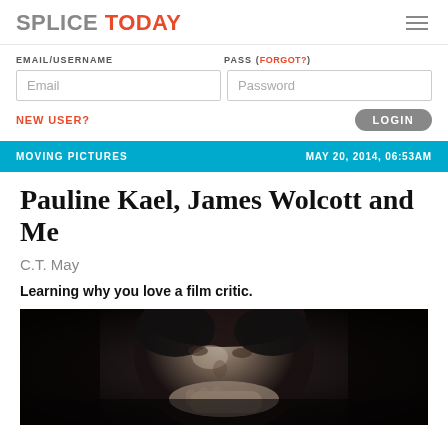SPLICE TODAY
EMAIL/USERNAME   PASS (FORGOT?)
Email   Password
NEW USER?   LOGIN
MOVING PICTURES   MAY 20, 2014, 06:53AM
Pauline Kael, James Wolcott and Me
C.T. May
Learning why you love a film critic.
[Figure (photo): Black and white portrait photograph of Pauline Kael, a woman resting her chin on her hand, looking toward the camera.]